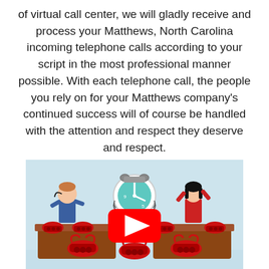of virtual call center, we will gladly receive and process your Matthews, North Carolina incoming telephone calls according to your script in the most professional manner possible. With each telephone call, the people you rely on for your Matthews company's continued success will of course be handled with the attention and respect they deserve and respect.
[Figure (illustration): Animated illustration of a call center scene with cartoon characters at desks with red telephones, a large clock in the center, and a YouTube play button overlay in the middle.]